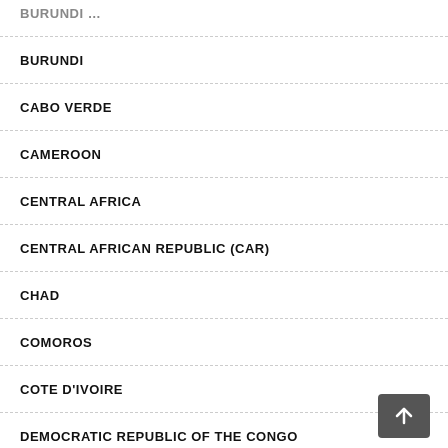BURUNDI (partial)
BURUNDI
CABO VERDE
CAMEROON
CENTRAL AFRICA
CENTRAL AFRICAN REPUBLIC (CAR)
CHAD
COMOROS
COTE D'IVOIRE
DEMOCRATIC REPUBLIC OF THE CONGO
DJIBOUTI
EAST AFRICA